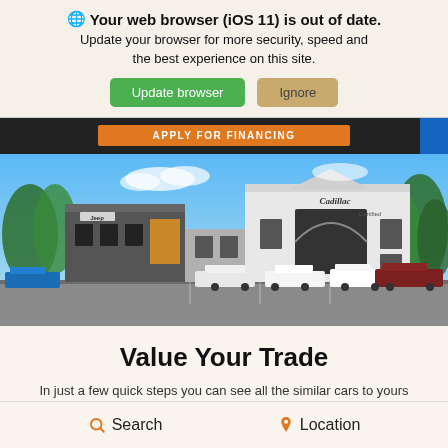🔵 Your web browser (iOS 11) is out of date. Update your browser for more security, speed and the best experience on this site.
Update browser | Ignore
APPLY FOR FINANCING
[Figure (photo): Exterior photo of a car dealership with white building facade showing Cadillac and other brand signage, parked cars in front, blue sky background with trees]
Value Your Trade
In just a few quick steps you can see all the similar cars to yours for sale in the market today!
Search   Location